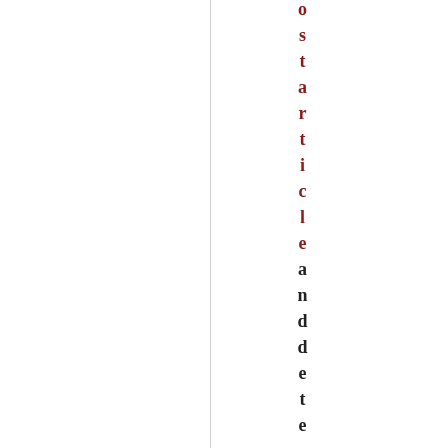o s t a r t i c l e a n d d e t e r m i n e d t h